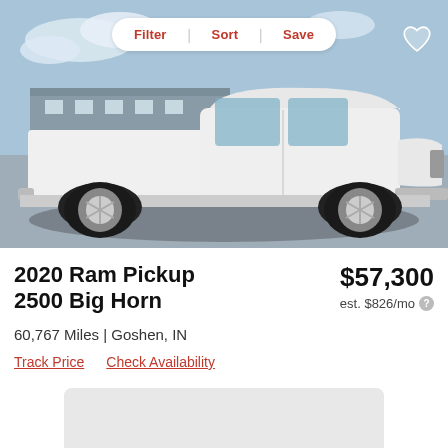[Figure (photo): White 2020 Ram Pickup 2500 Big Horn truck parked in a lot, side profile view, in front of a metal building with trees in background]
Filter | Sort | Save
2020 Ram Pickup 2500 Big Horn
$57,300
est. $826/mo
60,767 Miles | Goshen, IN
Track Price   Check Availability